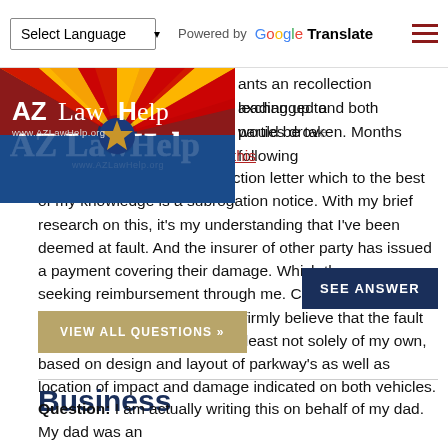[Figure (screenshot): Top navigation bar with Select Language dropdown, Powered by Google Translate text, and hamburger menu icon]
[Figure (logo): AZ Law Help logo with Arizona flag background, showing AZLawHelp text and www.AZLawHelp.org URL]
vehicle damage ... but which cops would not respond to so there is no reports in ... wants an recollection leading up to ... exchanged and both parties drove ... would be taken. Months following ... accident slipped my mind. Until this week even I received a collection letter which to the best of my knowledge is a subrogation notice. With my brief research on this, it's my understanding that I've been deemed at fault. And the insurer of other party has issued a payment covering their damage. Which they are now seeking reimbursement through me. Can I dispute or appeal an how is this done? I firmly believe that the fault is that of the other driver or at least not solely of my own, based on design and layout of parkway's as well as location of impact and damage indicated on both vehicles.
SEE ANSWER
VIEW ALL QUESTIONS »
Business
Question: I am actually writing this on behalf of my dad. My dad was an